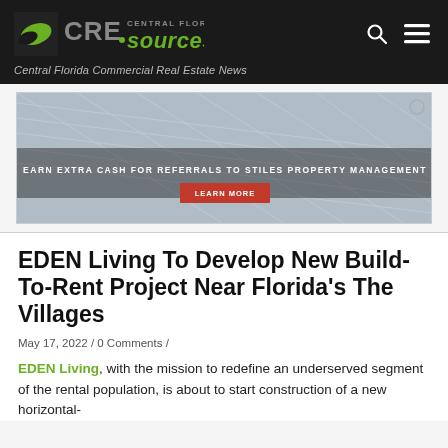CRE Sources – Central Florida Commercial Real Estate News
[Figure (photo): Banner advertisement with building grid background. Text reads: EARN EXTRA CASH FOR REFERRALS TO STILES PROPERTY MANAGEMENT. Red LEARN MORE button in center.]
EDEN Living To Develop New Build-To-Rent Project Near Florida's The Villages
May 17, 2022 / 0 Comments /
EDEN Living, with the mission to redefine an underserved segment of the rental population, is about to start construction of a new horizontal-